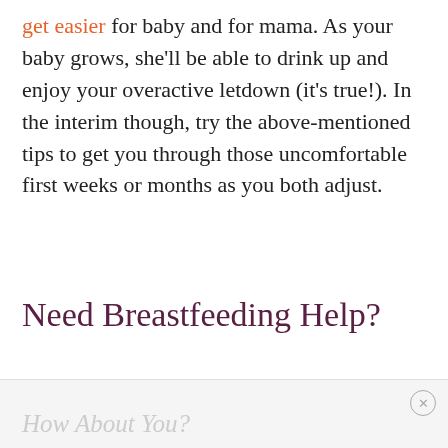get easier for baby and for mama. As your baby grows, she'll be able to drink up and enjoy your overactive letdown (it's true!). In the interim though, try the above-mentioned tips to get you through those uncomfortable first weeks or months as you both adjust.
Need Breastfeeding Help?
How About You?